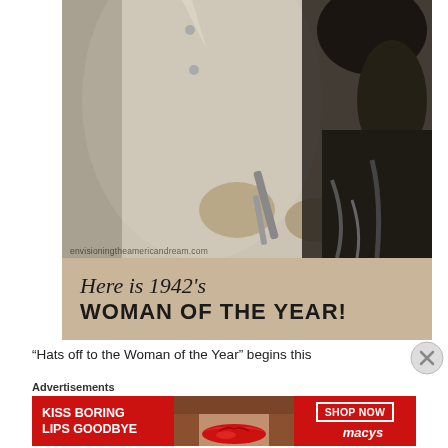[Figure (photo): Black and white vintage 1942 photograph of a woman in work overalls using a tool on an aircraft engine or motor. The photo is cropped to show the torso and hands of the worker. Watermark text reads 'envisioningtheamericandream.com'. Below the photo on a beige/tan background is cursive text 'Here is 1942's' and bold text 'WOMAN OF THE YEAR!']
“Hats off to the Woman of the Year” begins this
Advertisements
[Figure (screenshot): Red advertisement banner for Macy's. Left side has white bold text 'KISS BORING LIPS GOODBYE'. Center shows a woman's face with red lipstick. Right side has a white-bordered button 'SHOP NOW' and the Macy's logo with red star.]